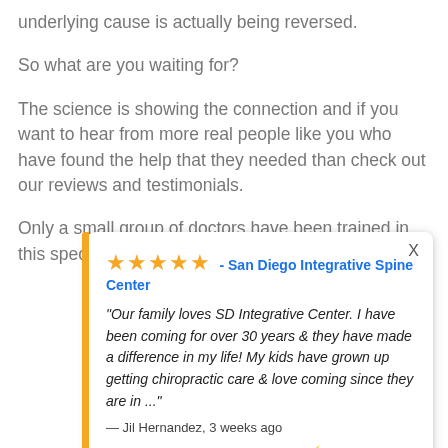underlying cause is actually being reversed.
So what are you waiting for?
The science is showing the connection and if you want to hear from more real people like you who have found the help that they needed than check out our reviews and testimonials.
Only a small group of doctors have been trained in this specialized procedure.
[Figure (screenshot): A Google review popup widget showing 5 stars from San Diego Integrative Spine Center, with a quote from Jil Hernandez 3 weeks ago: 'Our family loves SD Integrative Center. I have been coming for over 30 years & they have made a difference in my life! My kids have grown up getting chiropractic care & love coming since they are in ...' Attributed by Review Wave. An orange vertical bar appears on the left side. An X close button is in the top right.]